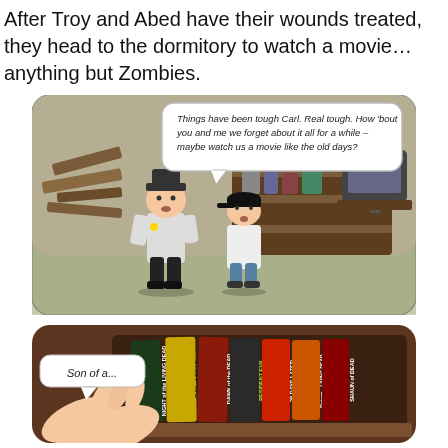After Troy and Abed have their wounds treated, they head to the dormitory to watch a movie…anything but Zombies.
[Figure (illustration): Comic panel showing two cartoon characters — a sheriff and a boy in a baseball cap — standing in a cluttered room with a TV and shelves. A speech bubble reads: 'Things have been tough Carl. Real tough. How 'bout you and me we forget about it all for a while – maybe watch us a movie like the old days?']
[Figure (illustration): Comic panel showing a hand reaching toward a shelf of zombie movie VHS/DVD cases with titles: Night of the Living Dead, Day of the Dead, Dawn of the Dead, Resident Evil, 28 Days Later, Return of the Living Dead, Shaun of the Dead. A speech bubble reads: 'Son of a...']